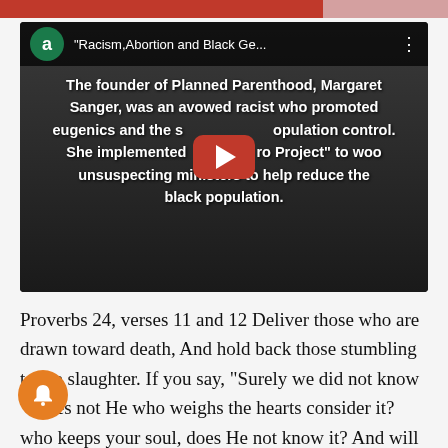[Figure (screenshot): YouTube video thumbnail showing a black-and-white photo of a person with text overlay reading: 'The founder of Planned Parenthood, Margaret Sanger, was an avowed racist who promoted eugenics and the sterilization and population control. She implemented the "Negro Project" to woo unsuspecting ministers to help reduce the black population.' The video title bar shows 'Racism, Abortion and Black Ge...' with an avatar circle with letter 'a' on a green background.]
Proverbs 24, verses 11 and 12 Deliver those who are drawn toward death, And hold back those stumbling to the slaughter. If you say, “Surely we did not know” Does not He who weighs the hearts consider it? who keeps your soul, does He not know it? And will He not render to each man according to his